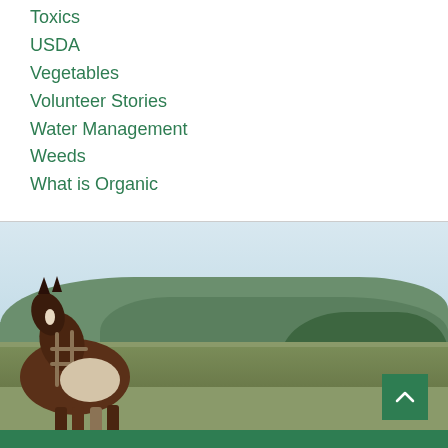Toxics
USDA
Vegetables
Volunteer Stories
Water Management
Weeds
What is Organic
[Figure (photo): Photo of horses with harnesses viewed from behind, with a wide rural landscape of rolling hills covered in forest in the background. A green back-to-top button is visible in the lower right.]